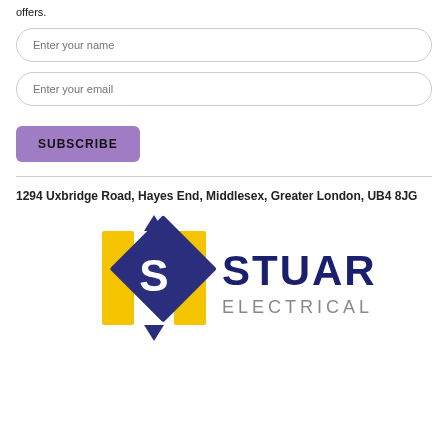offers.
Enter your name
Enter your email
SUBSCRIBE
1294 Uxbridge Road, Hayes End, Middlesex, Greater London, UB4 8JG
[Figure (logo): Stuart Electricals logo: a dark blue diamond shape with a stylized 'S' and yellow bracket accents, with 'STUART ELECTRICALS' text in dark blue/grey to the right.]